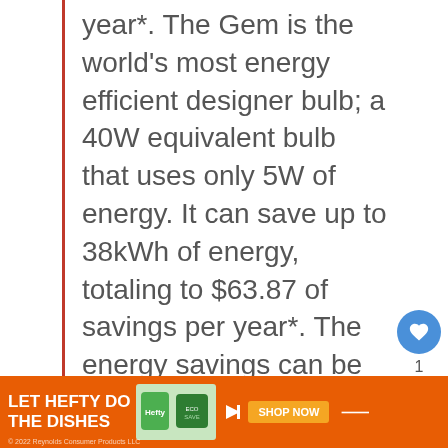year*. The Gem is the world's most energy efficient designer bulb; a 40W equivalent bulb that uses only 5W of energy. It can save up to 38kWh of energy, totaling to $63.87 of savings per year*. The energy savings can be very significant, quickly multiplying with each bulb you use in your home.
*based on 10 bulbs per household and electricity cost of $0.11 per kWh...